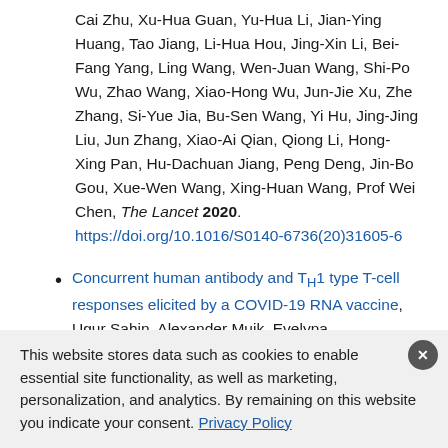Cai Zhu, Xu-Hua Guan, Yu-Hua Li, Jian-Ying Huang, Tao Jiang, Li-Hua Hou, Jing-Xin Li, Bei-Fang Yang, Ling Wang, Wen-Juan Wang, Shi-Po Wu, Zhao Wang, Xiao-Hong Wu, Jun-Jie Xu, Zhe Zhang, Si-Yue Jia, Bu-Sen Wang, Yi Hu, Jing-Jing Liu, Jun Zhang, Xiao-Ai Qian, Qiong Li, Hong-Xing Pan, Hu-Dachuan Jiang, Peng Deng, Jin-Bo Gou, Xue-Wen Wang, Xing-Huan Wang, Prof Wei Chen, The Lancet 2020. https://doi.org/10.1016/S0140-6736(20)31605-6
Concurrent human antibody and TH1 type T-cell responses elicited by a COVID-19 RNA vaccine, Ugur Sahin, Alexander Muik, Evelyna Derhovanessian, Isabel
This website stores data such as cookies to enable essential site functionality, as well as marketing, personalization, and analytics. By remaining on this website you indicate your consent. Privacy Policy